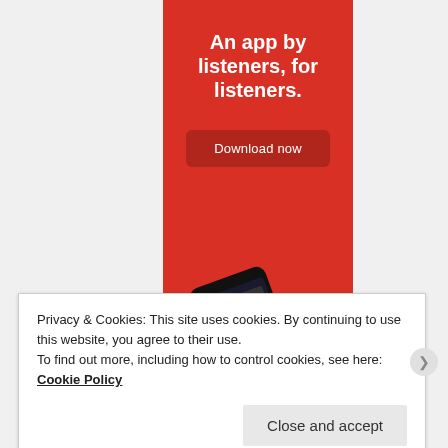[Figure (infographic): Red advertisement banner for a listening app. White bold text reads 'An app by listeners, for listeners.' with a dark red 'Download now' button and a phone image at the bottom.]
Privacy & Cookies: This site uses cookies. By continuing to use this website, you agree to their use.
To find out more, including how to control cookies, see here: Cookie Policy
Close and accept